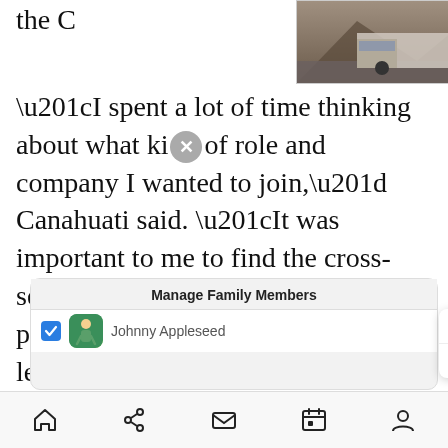the C
[Figure (screenshot): Advertisement banner for trucking AI product with truck image, text 'FUTURE OF TRUCKING POWERED BY AI', close button top right, brand mark 'GPlu' bottom right]
“I spent a lot of time thinking about what ki✕of role and company I wanted to join,” Canahuati said. “It was important to me to find the cross-section of solving meaningful problems for people, strong leadership, a loved brand, and where my skills and experiences could help the company become even stronger. I prefer companies that take a consumer-first approach to building products because they tend to build more user-friendly applications.”
[Figure (screenshot): UI screenshot showing 'Manage Family Members' card with Johnny Appleseed entry with checkbox and avatar, overlapped by a dropdown showing 'Logins' and 'Credit Cards' options]